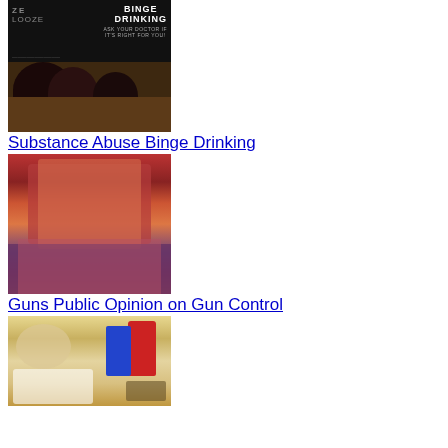[Figure (photo): Collage image with 'Binge Drinking - Ask your doctor if it's right for you' text overlay on dark background, with photo of young people drinking below]
Substance Abuse Binge Drinking
[Figure (photo): Photo of overweight child/person from behind wearing red vest and orange long-sleeve shirt]
Guns Public Opinion on Gun Control
[Figure (photo): Photo of junk food items including popcorn, canned goods, cookies and snacks]